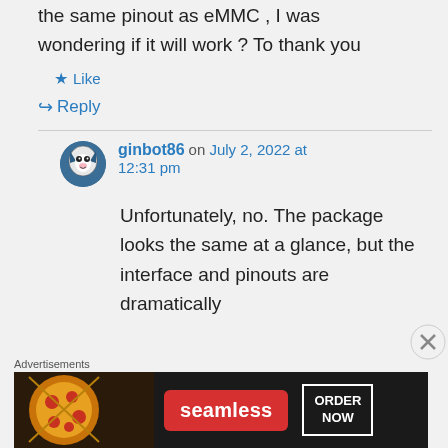the same pinout as eMMC , I was wondering if it will work ? To thank you
★ Like
↪ Reply
ginbot86 on July 2, 2022 at 12:31 pm
Unfortunately, no. The package looks the same at a glance, but the interface and pinouts are dramatically
Advertisements
[Figure (other): Seamless food delivery advertisement banner with pizza image, Seamless logo, and ORDER NOW button]